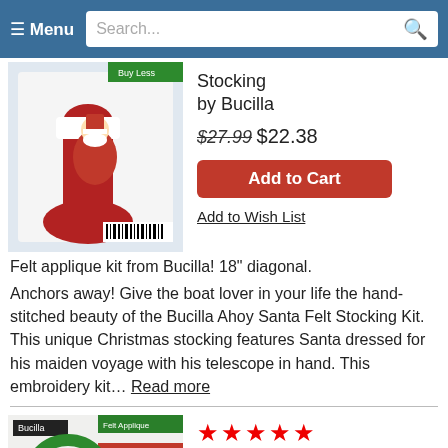≡ Menu | Search...
[Figure (photo): Christmas stocking with Santa Claus holding telescope, felt applique product image]
Stocking by Bucilla
$27.99 $22.38
Add to Cart
Add to Wish List
Felt applique kit from Bucilla! 18" diagonal.
Anchors away! Give the boat lover in your life the hand-stitched beauty of the Bucilla Ahoy Santa Felt Stocking Kit. This unique Christmas stocking features Santa dressed for his maiden voyage with his telescope in hand. This embroidery kit... Read more
[Figure (photo): Holiday door hanger felt applique kit product image with snowman and Welcome wreath]
★★★★★
Holiday Door Hanger Felt Applique Kit by Bucilla